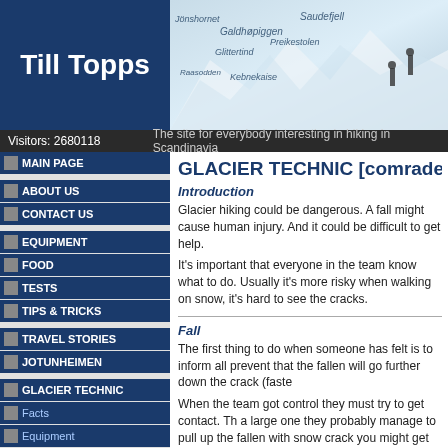Till Topps
[Figure (photo): Header photo showing snowy Scandinavian mountain landscape with hikers, overlaid with mountain names: Jonshornet, Galdhopiggen, Saudefjellet, Glittertind, Preikestolen, Raasodden, Kebnekaise]
Visitors: 2680118  The site for everybody interesting in hiking in Scandinavia
MAIN PAGE
ABOUT US
CONTACT US
EQUIPMENT
FOOD
TESTS
TIPS & TRICKS
TRAVEL STORIES
JOTUNHEIMEN
GLACIER TECHNIC
Facts
Equipment
Knots
Safety technic
Comrade rescue
FIRST AID
ARTICLES
TOP 10
POSTCARD
GLACIER TECHNIC [comrade re
Introduction
Glacier hiking could be dangerous. A fall might cause human injury. And it could be difficult to get help.
It's important that everyone in the team know what to do. Usually it's more risky when walking on snow, it's hard to see the cracks.
Fall
The first thing to do when someone has felt is to inform all prevent that the fallen will go further down the crack (faste
When the team got control they must try to get contact. Th a large one they probably manage to pull up the fallen with snow crack you might get problem with the rope cutting its
If the person is bad injured someone has to climb down an the harness.